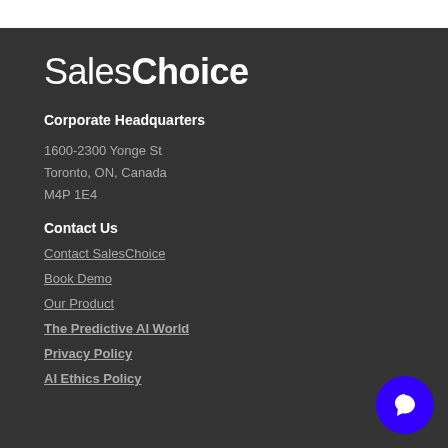SalesChoice
Corporate Headquarters
1600-2300 Yonge St
Toronto, ON, Canada
M4P 1E4
Contact Us
Contact SalesChoice
Book Demo
Our Product
The Predictive AI World
Privacy Policy
AI Ethics Policy